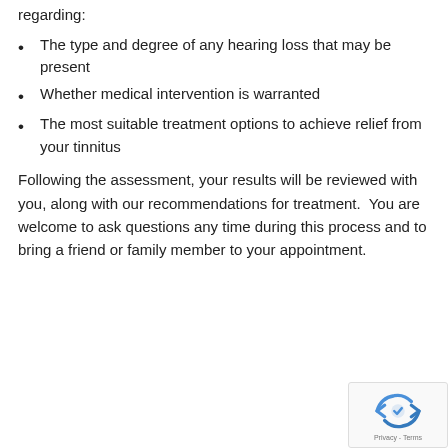regarding:
The type and degree of any hearing loss that may be present
Whether medical intervention is warranted
The most suitable treatment options to achieve relief from your tinnitus
Following the assessment, your results will be reviewed with you, along with our recommendations for treatment.  You are welcome to ask questions any time during this process and to bring a friend or family member to your appointment.
[Figure (logo): reCAPTCHA badge with recycling-style arrow icon and Privacy - Terms text]